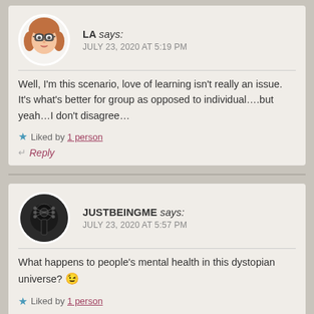LA says: JULY 23, 2020 AT 5:19 PM
Well, I'm this scenario, love of learning isn't really an issue. It's what's better for group as opposed to individual….but yeah…I don't disagree…
★ Liked by 1 person
↵ Reply
JUSTBEINGME says: JULY 23, 2020 AT 5:57 PM
What happens to people's mental health in this dystopian universe? 😉
★ Liked by 1 person